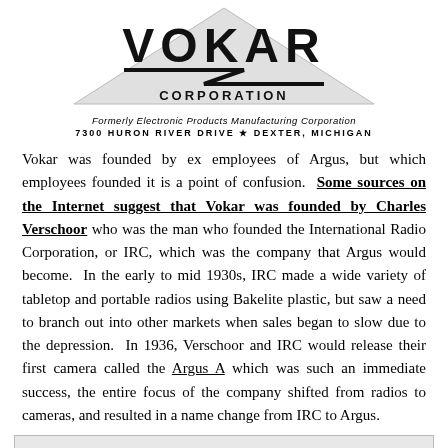[Figure (logo): Vokar Corporation logo with bold VOKAR text, lightning bolt underneath, triangle shape, 'CORPORATION' subtitle, 'Formerly Electronic Products Manufacturing Corporation', address '7300 HURON RIVER DRIVE ★ DEXTER, MICHIGAN']
Vokar was founded by ex employees of Argus, but which employees founded it is a point of confusion. Some sources on the Internet suggest that Vokar was founded by Charles Verschoor who was the man who founded the International Radio Corporation, or IRC, which was the company that Argus would become. In the early to mid 1930s, IRC made a wide variety of tabletop and portable radios using Bakelite plastic, but saw a need to branch out into other markets when sales began to slow due to the depression. In 1936, Verschoor and IRC would release their first camera called the Argus A which was such an immediate success, the entire focus of the company shifted from radios to cameras, and resulted in a name change from IRC to Argus.
Robert P. Wuerfel, inventor